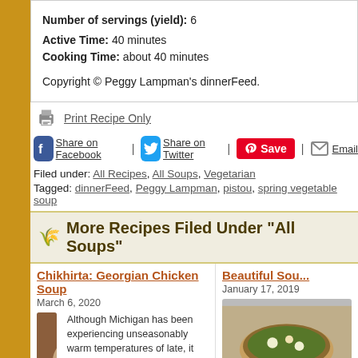Number of servings (yield): 6
Active Time: 40 minutes
Cooking Time: about 40 minutes
Copyright © Peggy Lampman's dinnerFeed.
Print Recipe Only
Share on Facebook | Share on Twitter | Save | Email
Filed under: All Recipes, All Soups, Vegetarian
Tagged: dinnerFeed, Peggy Lampman, pistou, spring vegetable soup
More Recipes Filed Under "All Soups"
Chikhirta: Georgian Chicken Soup
March 6, 2020
Although Michigan has been experiencing unseasonably warm temperatures of late, it seems like a good time to make soup. The panic buying felt by the coronavirus maelstrom is like nothing I've ever witnessed. I've lived
Beautiful Sou...
January 17, 2019